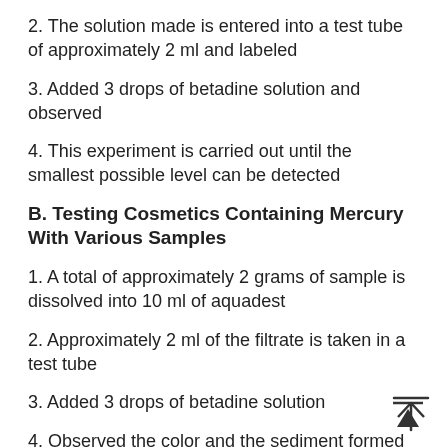2. The solution made is entered into a test tube of approximately 2 ml and labeled
3. Added 3 drops of betadine solution and observed
4. This experiment is carried out until the smallest possible level can be detected
B. Testing Cosmetics Containing Mercury With Various Samples
1. A total of approximately 2 grams of sample is dissolved into 10 ml of aquadest
2. Approximately 2 ml of the filtrate is taken in a test tube
3. Added 3 drops of betadine solution
4. Observed the color and the sediment formed